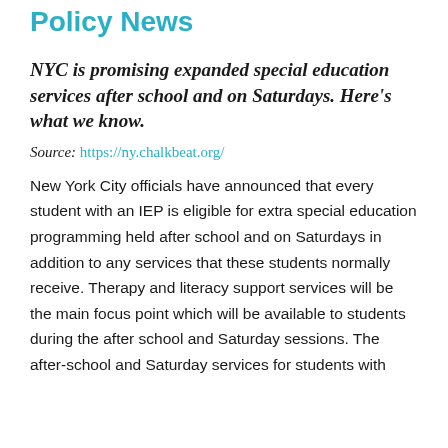Policy News
NYC is promising expanded special education services after school and on Saturdays. Here's what we know.
Source: https://ny.chalkbeat.org/
New York City officials have announced that every student with an IEP is eligible for extra special education programming held after school and on Saturdays in addition to any services that these students normally receive. Therapy and literacy support services will be the main focus point which will be available to students during the after school and Saturday sessions. The after-school and Saturday services for students with